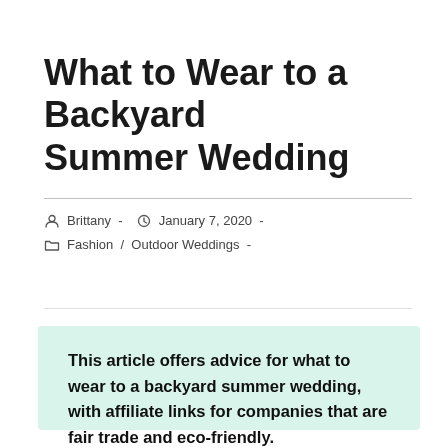What to Wear to a Backyard Summer Wedding
Brittany  -  January 7, 2020  -  Fashion / Outdoor Weddings  -
This article offers advice for what to wear to a backyard summer wedding, with affiliate links for companies that are fair trade and eco-friendly.